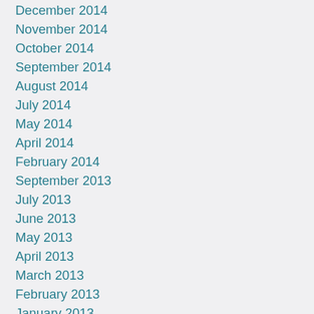December 2014
November 2014
October 2014
September 2014
August 2014
July 2014
May 2014
April 2014
February 2014
September 2013
July 2013
June 2013
May 2013
April 2013
March 2013
February 2013
January 2013
December 2012
November 2012
October 2012
September 2012
July 2012